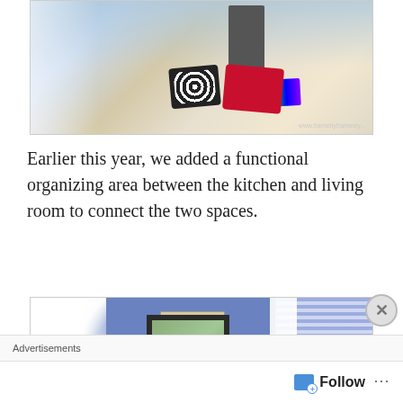[Figure (photo): Interior bedroom photo showing colorful pillows on a white bed with a metal rack/shelf in the background, blue walls. Watermark: www.framebyframesty...]
Earlier this year, we added a functional organizing area between the kitchen and living room to connect the two spaces.
[Figure (photo): Interior living/organizing area photo showing blue painted walls, a white console table with wicker storage baskets, a framed picture on wall, and sheer curtains by a window.]
Advertisements